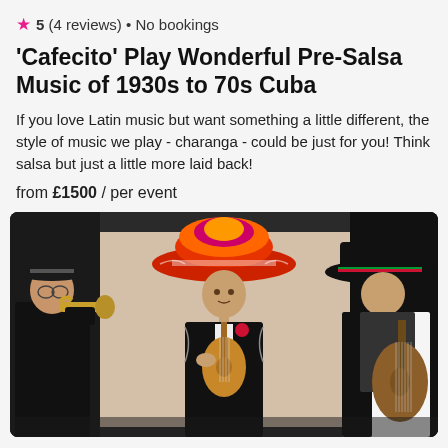★ 5 (4 reviews) • No bookings
'Cafecito' Play Wonderful Pre-Salsa Music of 1930s to 70s Cuba
If you love Latin music but want something a little different, the style of music we play - charanga - could be just for you! Think salsa but just a little more laid back!
from £1500 / per event
[Figure (photo): Three musicians wearing mariachi sombreros. Left: a man playing a trumpet. Center: a man playing a small guitar/ukulele with a colorful large sombrero. Right: a person playing an acoustic guitar. All wear black mariachi-style outfits.]